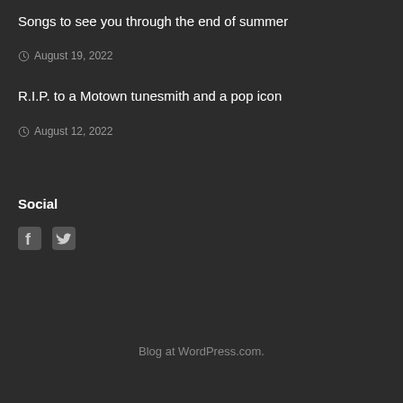Songs to see you through the end of summer
August 19, 2022
R.I.P. to a Motown tunesmith and a pop icon
August 12, 2022
Social
[Figure (other): Facebook and Twitter social media icons]
Blog at WordPress.com.